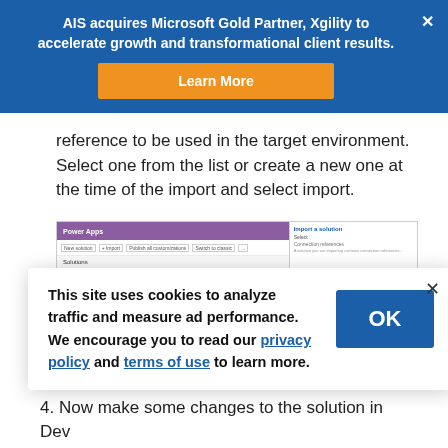AIS acquires Microsoft Gold Partner, Xgility to accelerate growth and transformational client results.
reference to be used in the target environment. Select one from the list or create a new one at the time of the import and select import.
[Figure (screenshot): Screenshot of Power Apps interface showing a solution import dialog on the right side]
This site uses cookies to analyze traffic and measure ad performance. We encourage you to read our privacy policy and terms of use to learn more.
4. Now make some changes to the solution in Dev